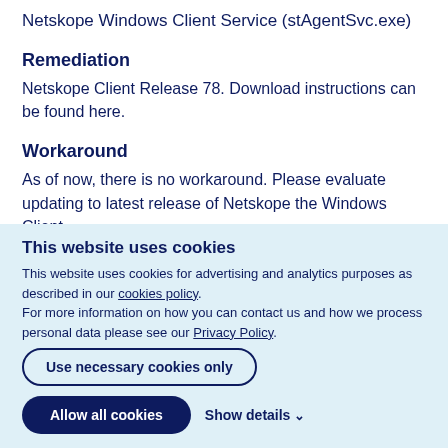Netskope Windows Client Service (stAgentSvc.exe)
Remediation
Netskope Client Release 78. Download instructions can be found here.
Workaround
As of now, there is no workaround. Please evaluate updating to latest release of Netskope the Windows Client.
This website uses cookies
This website uses cookies for advertising and analytics purposes as described in our cookies policy.
For more information on how you can contact us and how we process personal data please see our Privacy Policy.
Use necessary cookies only
Allow all cookies
Show details